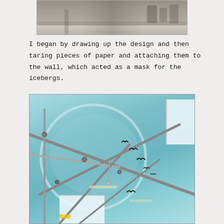[Figure (photo): Partial view of a room interior showing a wall or ceiling with architectural details, slightly cropped at the top of the page]
I began by drawing up the design and then taring pieces of paper and attaching them to the wall, which acted as a mask for the icebergs.
[Figure (photo): Upward-looking photograph of a circular painted ceiling mural in teal/light blue with birds in flight, scaffolding poles crossing the frame diagonally, and windows visible at right and bottom]